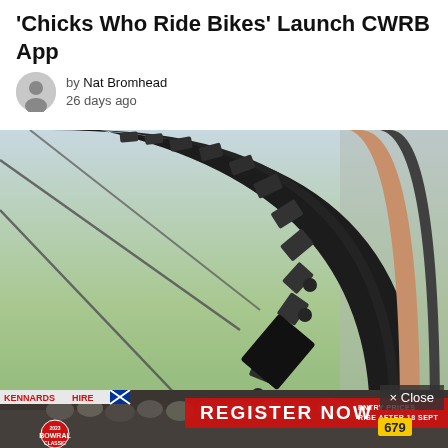'Chicks Who Ride Bikes' Launch CWRB App
by Nat Bromhead
26 days ago
[Figure (photo): Close-up photo of a bicycle tire tread and wheel rim with tan sidewall, blurred green background]
× Close
[Figure (photo): Advertisement banner for 2023 Bowral Classic cycling event showing crowd of cyclists with 'REGISTER NOW' text and 'ENTRY PRICES RISE AFTER 18 SEPT']